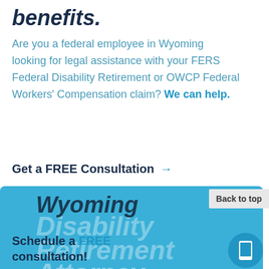benefits.
Are you a federal employee in Wyoming looking for legal assistance with your FERS Federal Disability Retirement or OWCP Federal Workers' Compensation claim? We can help.
Get a FREE Consultation →
Wyoming
Disability Retirement Attorney
Schedule a FREE consultation!
Back to top